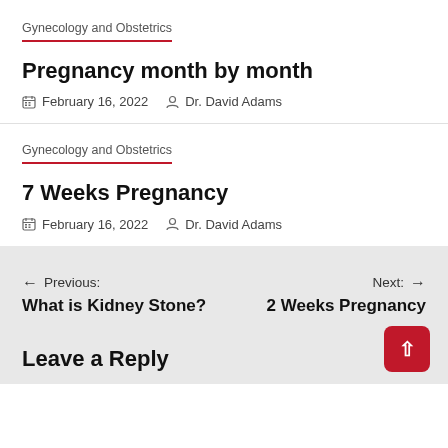Gynecology and Obstetrics
Pregnancy month by month
February 16, 2022   Dr. David Adams
Gynecology and Obstetrics
7 Weeks Pregnancy
February 16, 2022   Dr. David Adams
Previous: What is Kidney Stone?
Next: 2 Weeks Pregnancy
Leave a Reply